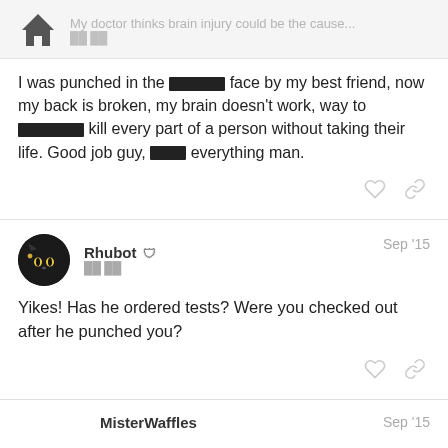My doctor thinks brain injury could be the cause...
I was punched in the ██████ face by my best friend, now my back is broken, my brain doesn't work, way to ████████ kill every part of a person without taking their life. Good job guy, ████ everything man.
Rhubot   Sep '15
Yikes! Has he ordered tests? Were you checked out after he punched you?
MisterWaffles   Sep '15